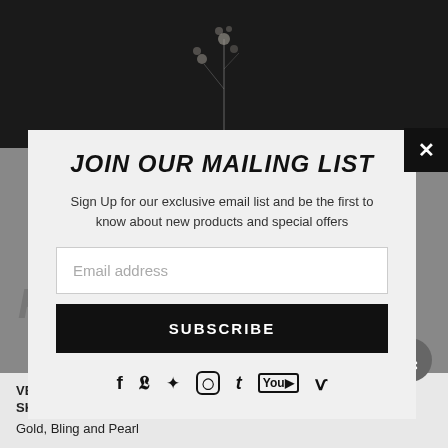[Figure (photo): Dark background with white flower/floral branch image at top of page]
JOIN OUR MAILING LIST
Sign Up for our exclusive email list and be the first to know about new products and special offers
[Figure (screenshot): Email address input field with placeholder text 'Email address']
SUBSCRIBE
[Figure (infographic): Social media icons: Facebook, Twitter, Pinterest, Instagram, Tumblr, YouTube, Vimeo]
VENDOR: G.I.P.S.O.N., Inc.
SKU: 562825
Gold, Bling and Pearl